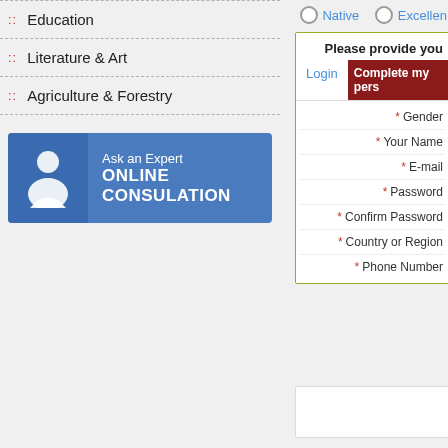:: Education
:: Literature & Art
:: Agriculture & Forestry
[Figure (illustration): Blue banner with person icon: Ask an Expert ONLINE CONSULATION]
Native   Excellen...
Please provide you...
Login | Complete my pers...
* Gender
* Your Name
* E-mail
* Password
* Confirm Password
* Country or Region
* Phone Number